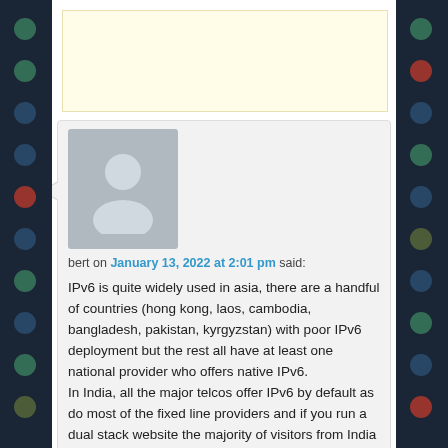[Figure (other): Yellow advertisement banner placeholder]
[Figure (photo): Gray user avatar silhouette image]
bert on January 13, 2022 at 2:01 pm said:
IPv6 is quite widely used in asia, there are a handful of countries (hong kong, laos, cambodia, bangladesh, pakistan, kyrgyzstan) with poor IPv6 deployment but the rest all have at least one national provider who offers native IPv6.
In India, all the major telcos offer IPv6 by default as do most of the fixed line providers and if you run a dual stack website the majority of visitors from India (nearly 80%) will be using IPv6 to access it, similarly in Malaysia, Thailand and Vietnam. In Singapore 3 of the main telcos offer IPv6 by default while the fourth will provide it if you